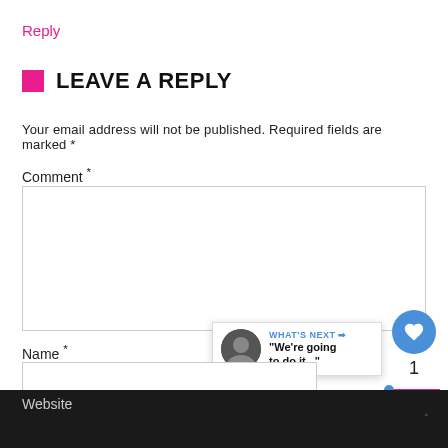Reply
LEAVE A REPLY
Your email address will not be published. Required fields are marked *
Comment *
Name *
Email *
Website
[Figure (other): A like/favorite button (blue circle with heart icon) showing count 1, a pink scroll-to-top button with up arrow, and a 'What's Next' video widget showing a thumbnail and text: "We're going to do it..."]